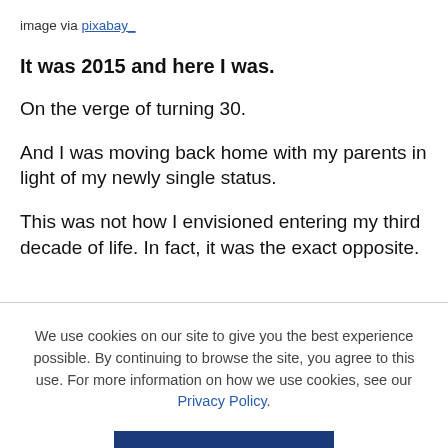image via pixabay_
It was 2015 and here I was.
On the verge of turning 30.
And I was moving back home with my parents in light of my newly single status.
This was not how I envisioned entering my third decade of life. In fact, it was the exact opposite.
We use cookies on our site to give you the best experience possible. By continuing to browse the site, you agree to this use. For more information on how we use cookies, see our Privacy Policy.
CONTINUE